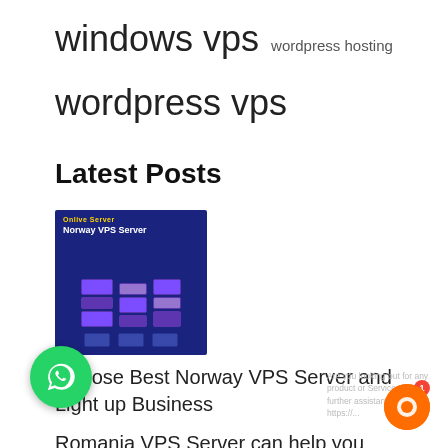windows vps  wordpress hosting
wordpress vps
Latest Posts
[Figure (screenshot): Norway VPS Server promotional image with dark blue background showing server rack illustration and text 'Norway VPS Server']
Choose Best Norway VPS Server and Light up Business
Romania VPS Server can help you grow your online business
[Figure (illustration): WhatsApp chat button - green circular icon in bottom left]
[Figure (illustration): Orange chat support bubble widget in bottom right corner with notification badge showing 1]